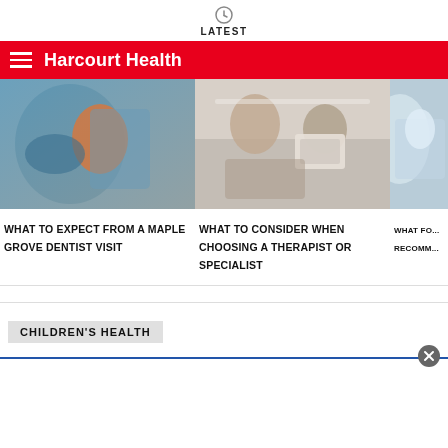LATEST
Harcourt Health
[Figure (photo): Dental hygienist treating a patient in dental chair, patient holding orange dental model]
WHAT TO EXPECT FROM A MAPLE GROVE DENTIST VISIT
[Figure (photo): Two people sitting at a table in a consultation setting, one writing on a clipboard]
WHAT TO CONSIDER WHEN CHOOSING A THERAPIST OR SPECIALIST
[Figure (photo): Partial view of a medical procedure with gloved hands]
WHAT FO... RECOMM...
CHILDREN'S HEALTH